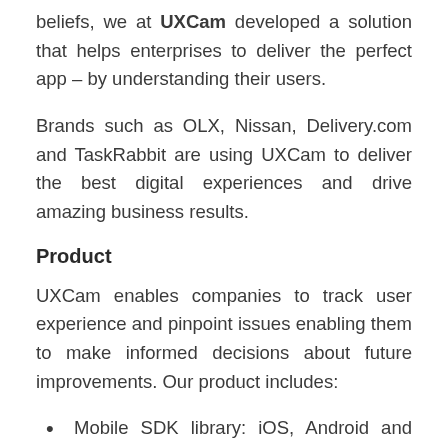beliefs, we at UXCam developed a solution that helps enterprises to deliver the perfect app – by understanding their users.
Brands such as OLX, Nissan, Delivery.com and TaskRabbit are using UXCam to deliver the best digital experiences and drive amazing business results.
Product
UXCam enables companies to track user experience and pinpoint issues enabling them to make informed decisions about future improvements. Our product includes:
Mobile SDK library: iOS, Android and Cross-platform SDK to record user